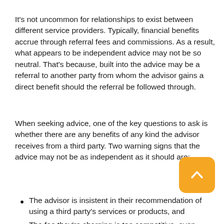It's not uncommon for relationships to exist between different service providers. Typically, financial benefits accrue through referral fees and commissions. As a result, what appears to be independent advice may not be so neutral. That's because, built into the advice may be a referral to another party from whom the advisor gains a direct benefit should the referral be followed through.
When seeking advice, one of the key questions to ask is whether there are any benefits of any kind the advisor receives from a third party. Two warning signs that the advice may not be as independent as it should are:
The advisor is insistent in their recommendation of using a third party's services or products, and
The fee they're charging is too competitive, even